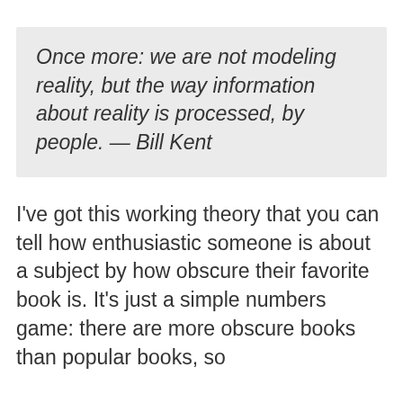Once more: we are not modeling reality, but the way information about reality is processed, by people. — Bill Kent
I've got this working theory that you can tell how enthusiastic someone is about a subject by how obscure their favorite book is. It's just a simple numbers game: there are more obscure books than popular books, so